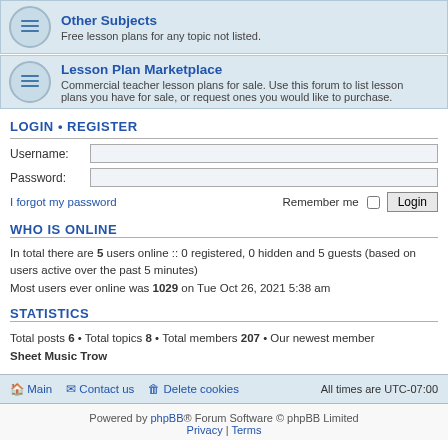Other Subjects
Free lesson plans for any topic not listed.
Lesson Plan Marketplace
Commercial teacher lesson plans for sale. Use this forum to list lesson plans you have for sale, or request ones you would like to purchase.
LOGIN • REGISTER
Username:
Password:
I forgot my password
Remember me
WHO IS ONLINE
In total there are 5 users online :: 0 registered, 0 hidden and 5 guests (based on users active over the past 5 minutes)
Most users ever online was 1029 on Tue Oct 26, 2021 5:38 am
STATISTICS
Total posts 6 • Total topics 8 • Total members 207 • Our newest member
Sheet Music Trow
Main  Contact us  Delete cookies  All times are UTC-07:00
Powered by phpBB® Forum Software © phpBB Limited
Privacy | Terms